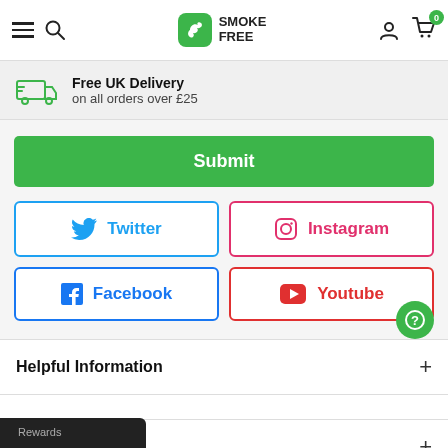Smoke Free — navigation header with hamburger, search, logo, account, cart (0)
Free UK Delivery on all orders over £25
Submit
Twitter
Instagram
Facebook
Youtube
Helpful Information
Support
Rewards